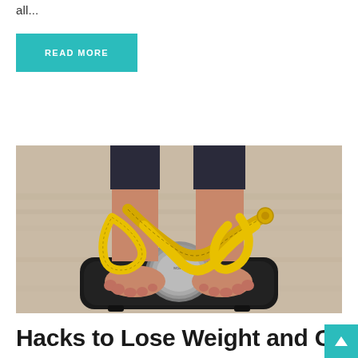all...
READ MORE
[Figure (photo): Person standing on a bathroom scale with a yellow measuring tape wrapped around their feet/ankles, viewed from above. The person is wearing dark jeans. The scale sits on a wooden floor.]
Hacks to Lose Weight and Get...